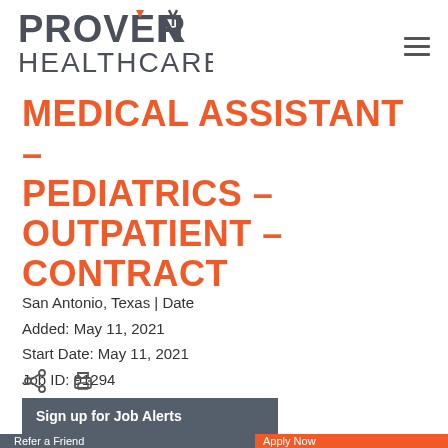[Figure (logo): PROVENIR HEALTHCARE logo with orange downward arrow above V]
MEDICAL ASSISTANT – PEDIATRICS – OUTPATIENT – CONTRACT
San Antonio, Texas | Date Added: May 11, 2021
Start Date: May 11, 2021
Job ID: 91294
[Figure (other): Share icon and print icon]
Sign up for Job Alerts